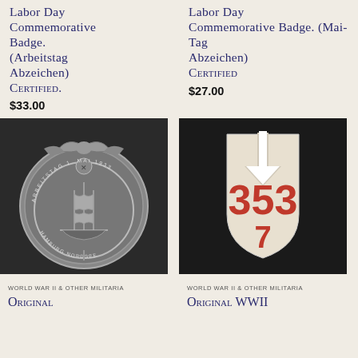LABOR DAY COMMEMORATIVE BADGE. (Arbeitstag Abzeichen) Certified.
$33.00
LABOR DAY COMMEMORATIVE BADGE. (Mai-Tag Abzeichen) Certified
$27.00
[Figure (photo): Black and white photo of a circular labor day commemorative badge with an eagle on top and a sailing ship in the center, surrounded by text, with a swastika emblem]
[Figure (photo): Photo of a shield-shaped military patch on dark background showing the number 353 and 7 in red on white/cream fabric with a downward arrow at top]
WORLD WAR II & OTHER MILITARIA
WORLD WAR II & OTHER MILITARIA
Original
Original WWII